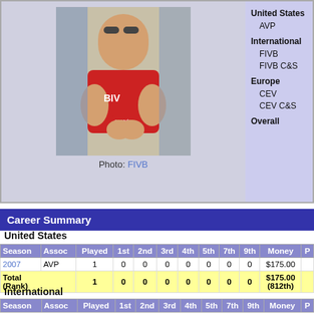[Figure (photo): Athlete in red swimsuit clapping, wearing sunglasses, at a beach volleyball event]
Photo: FIVB
United States
AVP
International
FIVB
FIVB C&S
Europe
CEV
CEV C&S
Overall
Career Summary
United States
| Season | Assoc | Played | 1st | 2nd | 3rd | 4th | 5th | 7th | 9th | Money | P |
| --- | --- | --- | --- | --- | --- | --- | --- | --- | --- | --- | --- |
| 2007 | AVP | 1 | 0 | 0 | 0 | 0 | 0 | 0 | 0 | $175.00 |  |
| Total
(Rank) |  | 1 | 0 | 0 | 0 | 0 | 0 | 0 | 0 | $175.00
(812th) |  |
International
| Season | Assoc | Played | 1st | 2nd | 3rd | 4th | 5th | 7th | 9th | Money | P |
| --- | --- | --- | --- | --- | --- | --- | --- | --- | --- | --- | --- |